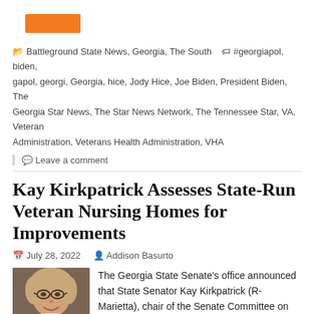[Figure (other): Orange button/label at top of page]
Battleground State News, Georgia, The South  #georgiapol, biden, gapol, georgi, Georgia, hice, Jody Hice, Joe Biden, President Biden, The Georgia Star News, The Star News Network, The Tennessee Star, VA, Veteran Administration, Veterans Health Administration, VHA
Leave a comment
Kay Kirkpatrick Assesses State-Run Veteran Nursing Homes for Improvements
July 28, 2022   Addison Basurto
[Figure (photo): Photo of Kay Kirkpatrick, a woman with glasses and light hair, smiling]
The Georgia State Senate's office announced that State Senator Kay Kirkpatrick (R-Marietta), chair of the Senate Committee on Veterans, Military, and Homeland Security, has been appointed to the new Subcommittee on Veteran Nursing Facilities.
"I am honored to serve as chair of the Senate Committee on Veterans, Military, and Homeland Security as we work to ensure